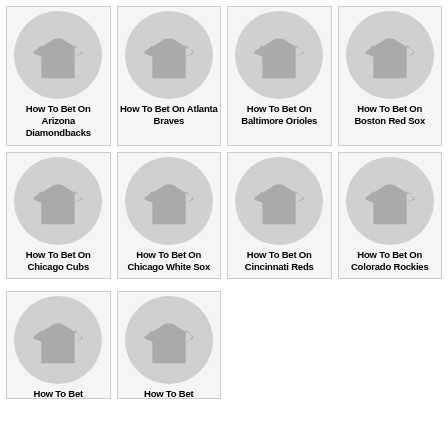[Figure (illustration): T-shirt icon in gray circle - Arizona Diamondbacks]
How To Bet On Arizona Diamondbacks
[Figure (illustration): T-shirt icon in gray circle - Atlanta Braves]
How To Bet On Atlanta Braves
[Figure (illustration): T-shirt icon in gray circle - Baltimore Orioles]
How To Bet On Baltimore Orioles
[Figure (illustration): T-shirt icon in gray circle - Boston Red Sox]
How To Bet On Boston Red Sox
[Figure (illustration): T-shirt icon in gray circle - Chicago Cubs]
How To Bet On Chicago Cubs
[Figure (illustration): T-shirt icon in gray circle - Chicago White Sox]
How To Bet On Chicago White Sox
[Figure (illustration): T-shirt icon in gray circle - Cincinnati Reds]
How To Bet On Cincinnati Reds
[Figure (illustration): T-shirt icon in gray circle - Colorado Rockies]
How To Bet On Colorado Rockies
[Figure (illustration): T-shirt icon in gray circle - partial card]
How To Bet (partial)
[Figure (illustration): T-shirt icon in gray circle - partial card]
How To Bet (partial)